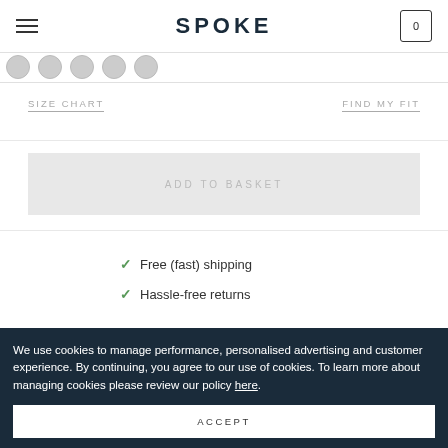SPOKE
[Figure (other): Row of circular thumbnail images partially visible]
SIZE CHART
FIND MY FIT
ADD TO BASKET
Free (fast) shipping
Hassle-free returns
We use cookies to manage performance, personalised advertising and customer experience. By continuing, you agree to our use of cookies. To learn more about managing cookies please review our policy here.
ACCEPT